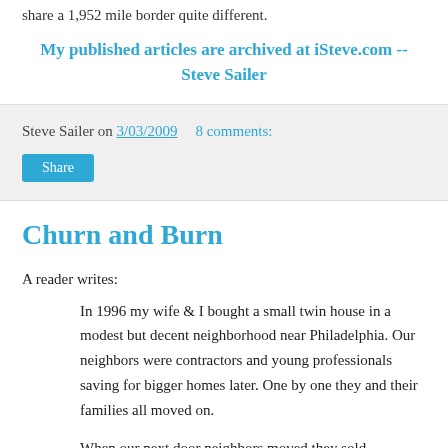share a 1,952 mile border quite different.
My published articles are archived at iSteve.com -- Steve Sailer
Steve Sailer on 3/03/2009   8 comments:
Share
Churn and Burn
A reader writes:
In 1996 my wife & I bought a small twin house in a modest but decent neighborhood near Philadelphia. Our neighbors were contractors and young professionals saving for bigger homes later. One by one they and their families all moved on.
When our next door neighbors moved they sold